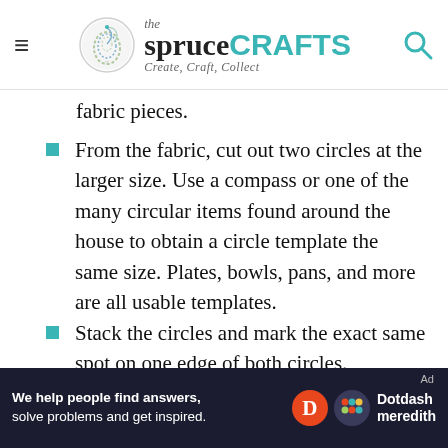the spruceCRAFTS — Create, Craft, Collect
fabric pieces.
From the fabric, cut out two circles at the larger size. Use a compass or one of the many circular items found around the house to obtain a circle template the same size. Plates, bowls, pans, and more are all usable templates.
Stack the circles and mark the exact same spot on one edge of both circles. This will be the mark to begin and
Ad — We help people find answers, solve problems and get inspired. Dotdash meredith